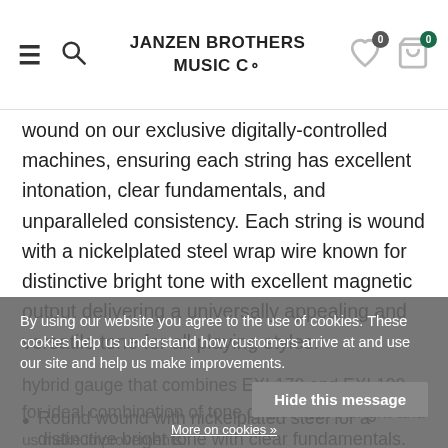JANZEN BROTHERS MUSIC CO
wound on our exclusive digitally-controlled machines, ensuring each string has excellent intonation, clear fundamentals, and unparalleled consistency. Each string is wound with a nickelplated steel wrap wire known for distinctive bright tone with excellent magnetic output delivering a universally appealing and versatile tone for all playing styles.
hybrid gauge that combines EXL170 and EXL100 for ideal combination of tone of distinctive bright and us make improvements.
Round wound with nickelplated steel for a distinctive bright tone with clear fundamentals.
By using our website you agree to the use of cookies. These cookies help us understand how customers arrive at and use our site and help us make improvements.